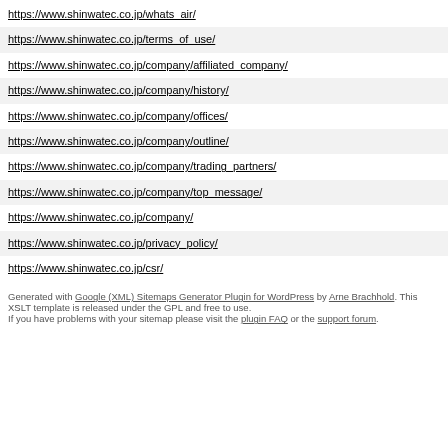https://www.shinwatec.co.jp/whats_air/
https://www.shinwatec.co.jp/terms_of_use/
https://www.shinwatec.co.jp/company/affiliated_company/
https://www.shinwatec.co.jp/company/history/
https://www.shinwatec.co.jp/company/offices/
https://www.shinwatec.co.jp/company/outline/
https://www.shinwatec.co.jp/company/trading_partners/
https://www.shinwatec.co.jp/company/top_message/
https://www.shinwatec.co.jp/company/
https://www.shinwatec.co.jp/privacy_policy/
https://www.shinwatec.co.jp/csr/
Generated with Google (XML) Sitemaps Generator Plugin for WordPress by Arne Brachhold. This XSLT template is released under the GPL and free to use.
If you have problems with your sitemap please visit the plugin FAQ or the support forum.